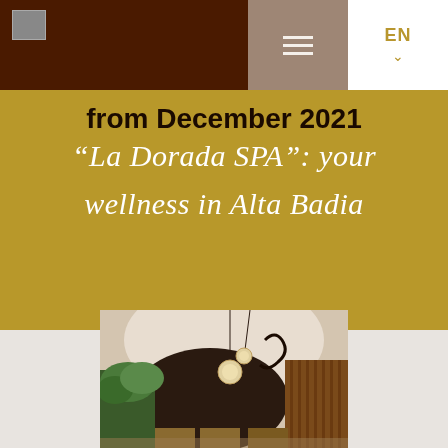[Figure (screenshot): Website navigation bar with dark brown logo area on left, taupe hamburger menu button in center, and white EN language selector on right]
from December 2021
"La Dorada SPA": your wellness in Alta Badia
[Figure (photo): Interior of La Dorada SPA showing a modern spa lobby with curved architectural details, wooden slat walls, hanging globe pendant lights, lush greenery, and warm ambient lighting]